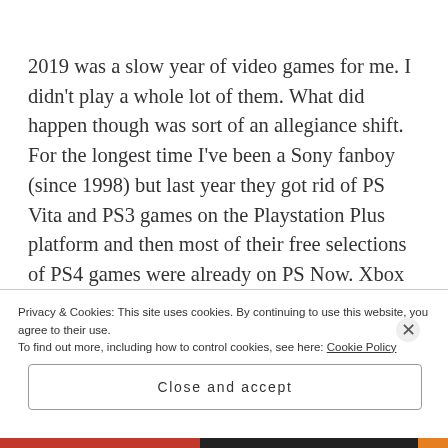2019 was a slow year of video games for me. I didn't play a whole lot of them. What did happen though was sort of an allegiance shift. For the longest time I've been a Sony fanboy (since 1998) but last year they got rid of PS Vita and PS3 games on the Playstation Plus platform and then most of their free selections of PS4 games were already on PS Now. Xbox had their Game Pass, which was cheaper
Privacy & Cookies: This site uses cookies. By continuing to use this website, you agree to their use.
To find out more, including how to control cookies, see here: Cookie Policy
Close and accept